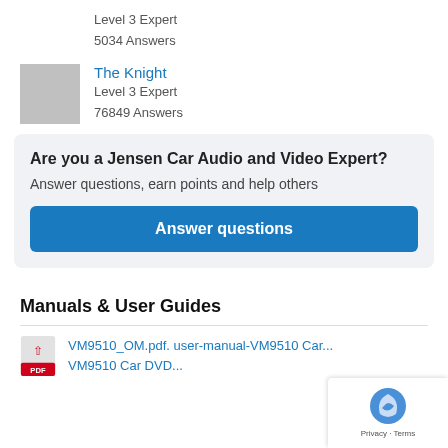Level 3 Expert
5034 Answers
The Knight
Level 3 Expert
76849 Answers
Are you a Jensen Car Audio and Video Expert?
Answer questions, earn points and help others
Answer questions
Manuals & User Guides
VM9510_OM.pdf. user-manual-VM9510 Car...
VM9510 Car DVD...